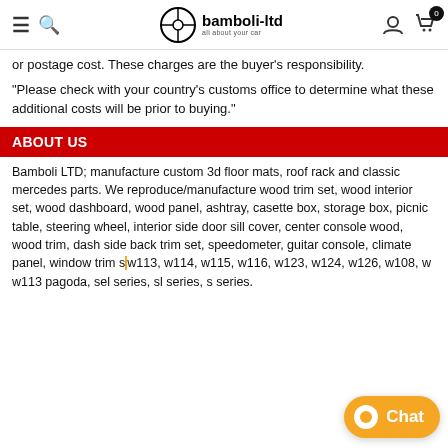bamboli-ltd — all about your car
or postage cost. These charges are the buyer's responsibility.
"Please check with your country's customs office to determine what these additional costs will be prior to buying."
ABOUT US
Bamboli LTD; manufacture custom 3d floor mats, roof rack and classic mercedes parts. We reproduce/manufacture wood trim set, wood interior set, wood dashboard, wood panel, ashtray, casette box, storage box, picnic table, steering wheel, interior side door sill cover, center console wood, wood trim, dash side back trim set, speedometer, guitar console, climate panel, window trim s... w113, w114, w115, w116, w123, w124, w126, w108, w... w113 pagoda, sel series, sl series, s series.